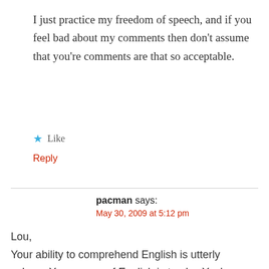I just practice my freedom of speech, and if you feel bad about my comments then don’t assume that you’re comments are that so acceptable.
★ Like
Reply
pacman says:
May 30, 2009 at 5:12 pm
Lou,
Your ability to comprehend English is utterly subpar. Your usage of English is trashy. You’ve displayed no substance whatsoever, but only to reveal your hypocrisy. Are you an English teacher? If you are, I feel sorry for your Korean